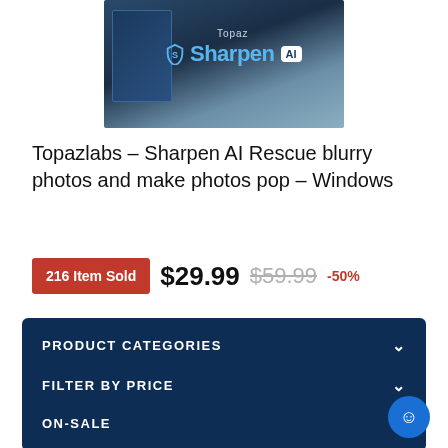[Figure (photo): Topaz Sharpen AI product box image with bird photo background and blue branding]
Topazlabs – Sharpen AI Rescue blurry photos and make photos pop – Windows
216 Item Sold  $29.99  $59.99  -50%
PRODUCT CATEGORIES
FILTER BY PRICE
ON-SALE
PRODUCT TAGS